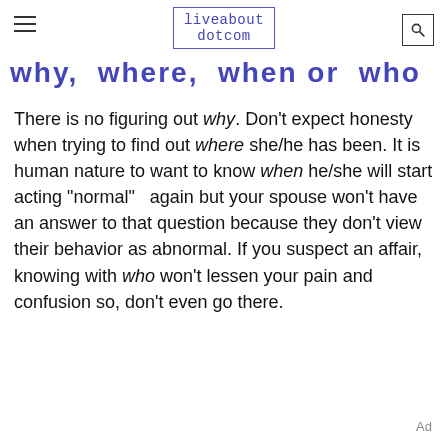liveabout dotcom
why,  where,  when or  who
There is no figuring out why. Don't expect honesty when trying to find out where she/he has been. It is human nature to want to know when he/she will start acting "normal"   again but your spouse won't have an answer to that question because they don't view their behavior as abnormal. If you suspect an affair, knowing with who won't lessen your pain and confusion so, don't even go there.
Ad